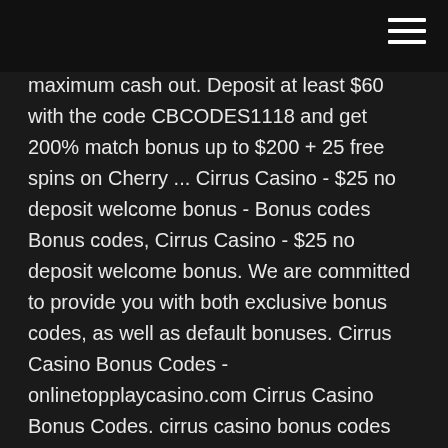maximum cash out. Deposit at least $60 with the code CBCODES1118 and get 200% match bonus up to $200 + 25 free spins on Cherry ... Cirrus Casino - $25 no deposit welcome bonus - Bonus codes Bonus codes, Cirrus Casino - $25 no deposit welcome bonus. We are committed to provide you with both exclusive bonus codes, as well as default bonuses. Cirrus Casino Bonus Codes - onlinetopplaycasino.com Cirrus Casino Bonus Codes. cirrus casino bonus codes When a player joins Europa Casino they are entitled to a welcome bonus of up to £2,400! This begins with a 100% bonus up to £100 on your first casino deposit and continues for a whole year!Restaurante Casino Mercantil De Zaragoza. Cirrus Online Casino No Deposit Bonus Codes 2013 Cirrus Online Casino No Deposit Bonus